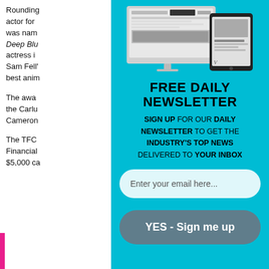Rounding out the cast, actor for... was named... Deep Blue... actress in... Sam Fell's... best anim...
The awa... the Carlu... Cameron...
The TFC... Financial... $5,000 ca...
[Figure (screenshot): Screenshot of a website/newsletter displayed on a desktop monitor and tablet device]
FREE DAILY NEWSLETTER
SIGN UP FOR OUR DAILY NEWSLETTER TO GET THE INDUSTRY'S TOP NEWS DELIVERED TO YOUR INBOX
Enter your email here...
YES - Sign me up